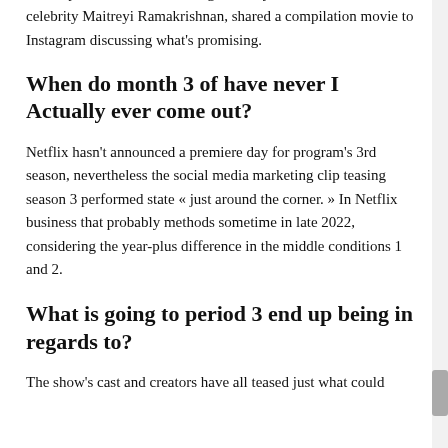severely behaved Indian teenager, » they stated. Netflix and celebrity Maitreyi Ramakrishnan, shared a compilation movie to Instagram discussing what's promising.
When do month 3 of have never I Actually ever come out?
Netflix hasn't announced a premiere day for program's 3rd season, nevertheless the social media marketing clip teasing season 3 performed state « just around the corner. » In Netflix business that probably methods sometime in late 2022, considering the year-plus difference in the middle conditions 1 and 2.
What is going to period 3 end up being in regards to?
The show's cast and creators have all teased just what could